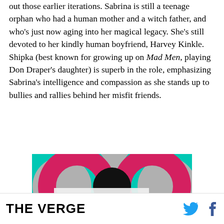out those earlier iterations. Sabrina is still a teenage orphan who had a human mother and a witch father, and who's just now aging into her magical legacy. She's still devoted to her kindly human boyfriend, Harvey Kinkle. Shipka (best known for growing up on Mad Men, playing Don Draper's daughter) is superb in the role, emphasizing Sabrina's intelligence and compassion as she stands up to bullies and rallies behind her misfit friends.
[Figure (other): Advertisement image showing The Verge 'Top Articles' overlay on a colorful graphic with teal and red circular shapes on a gray background.]
THE VERGE [with Twitter and Facebook icons]